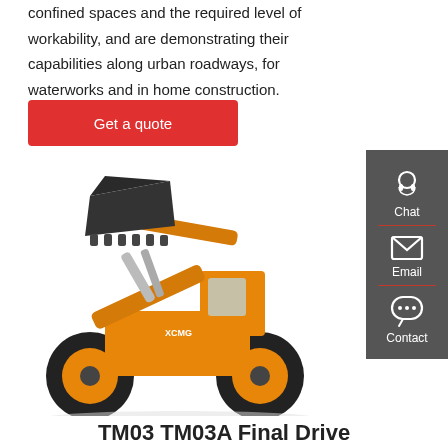confined spaces and the required level of workability, and are demonstrating their capabilities along urban roadways, for waterworks and in home construction.
Get a quote
[Figure (photo): Yellow XCMG wheel loader with raised bucket arm on white background]
TM03 TM03A Final Drive